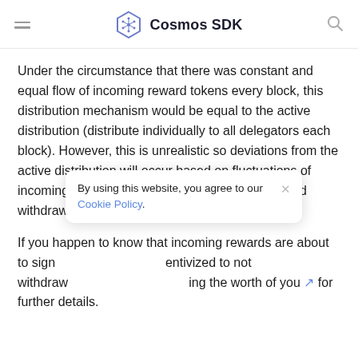≡  Cosmos SDK  🔍
Under the circumstance that there was constant and equal flow of incoming reward tokens every block, this distribution mechanism would be equal to the active distribution (distribute individually to all delegators each block). However, this is unrealistic so deviations from the active distribution will occur based on fluctuations of incoming reward tokens as well as timing of reward withdrawal by other delegators.
If you happen to know that incoming rewards are about to sign                                          entivized to not withdraw                                              ing the worth of you                                             for further details.
By using this website, you agree to our Cookie Policy.